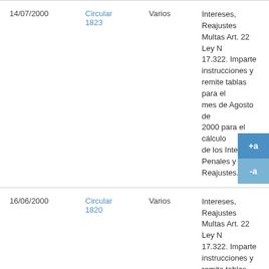| Fecha | Tipo | Destinatario | Descripción |
| --- | --- | --- | --- |
| 14/07/2000 | Circular 1823 | Varios | Intereses, Reajustes Multas Art. 22 Ley N 17.322. Imparte instrucciones y remite tablas para el mes de Agosto de 2000 para el cálculo de los Intereses Penales y de los Reajustes. |
| 16/06/2000 | Circular 1820 | Varios | Intereses, Reajustes Multas Art. 22 Ley N 17.322. Imparte instrucciones y remite tablas para el mes de Julio de 2000 para el cálculo de los Intereses Penales y de los Reajustes. |